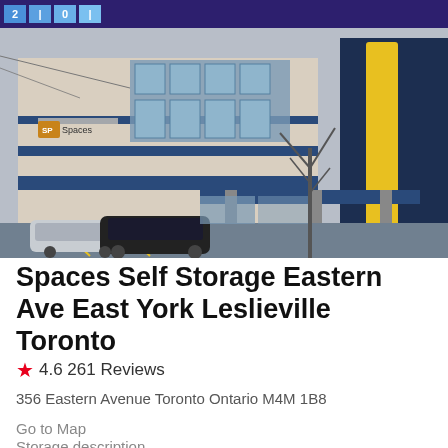Spaces Self Storage listing page header
[Figure (photo): Exterior photo of Spaces Self Storage building on Eastern Ave, a multi-storey modern building with blue and grey facade, large glass windows, and a vertical yellow sign reading SELF STORAGE on the right side. Cars are parked in front.]
Spaces Self Storage Eastern Ave East York Leslieville Toronto
★ 4.6 261 Reviews
356 Eastern Avenue Toronto Ontario M4M 1B8
Go to Map
Storage description